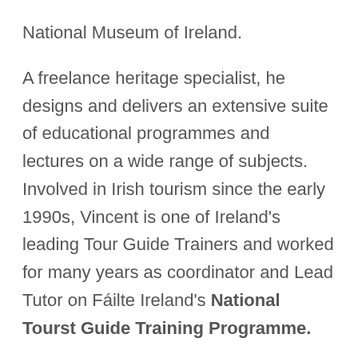National Museum of Ireland. A freelance heritage specialist, he designs and delivers an extensive suite of educational programmes and lectures on a wide range of subjects. Involved in Irish tourism since the early 1990s, Vincent is one of Ireland's leading Tour Guide Trainers and worked for many years as coordinator and Lead Tutor on Fáilte Ireland's National Tourst Guide Training Programme.
Vincent designs, manages and directs extended bespoke heritage tours throughout Ireland and possess